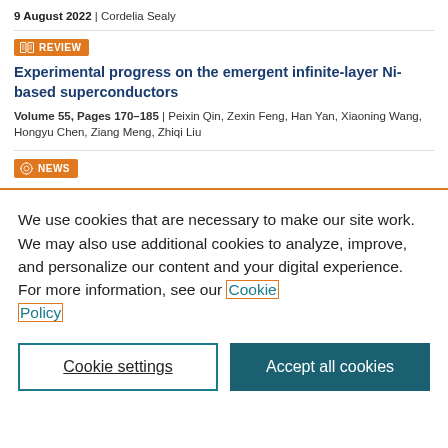9 August 2022 | Cordelia Sealy
REVIEW
Experimental progress on the emergent infinite-layer Ni-based superconductors
Volume 55, Pages 170–185 | Peixin Qin, Zexin Feng, Han Yan, Xiaoning Wang, Hongyu Chen, Ziang Meng, Zhiqi Liu
NEWS
We use cookies that are necessary to make our site work. We may also use additional cookies to analyze, improve, and personalize our content and your digital experience. For more information, see our Cookie Policy
Cookie settings
Accept all cookies